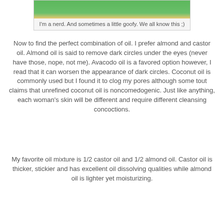[Figure (photo): Cropped photo of a person wearing a green shirt, showing partial face/chin area]
I'm a nerd. And sometimes a little goofy. We all know this ;)
Now to find the perfect combination of oil. I prefer almond and castor oil. Almond oil is said to remove dark circles under the eyes (never have those, nope, not me). Avacodo oil is a favored option however, I read that it can worsen the appearance of dark circles. Coconut oil is commonly used but I found it to clog my pores although some tout claims that unrefined coconut oil is noncomedogenic. Just like anything, each woman's skin will be different and require different cleansing concoctions.
My favorite oil mixture is 1/2 castor oil and 1/2 almond oil. Castor oil is thicker, stickier and has excellent oil dissolving qualities while almond oil is lighter yet moisturizing.